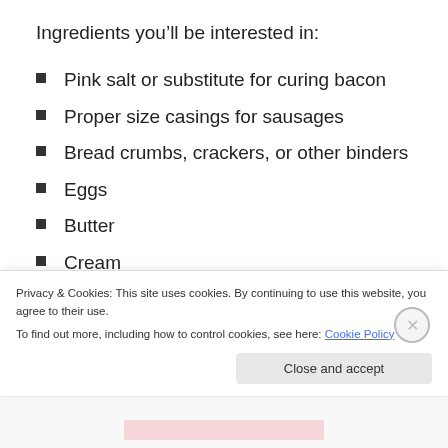Ingredients you'll be interested in:
Pink salt or substitute for curing bacon
Proper size casings for sausages
Bread crumbs, crackers, or other binders
Eggs
Butter
Cream
Milk
Pepper
Privacy & Cookies: This site uses cookies. By continuing to use this website, you agree to their use.
To find out more, including how to control cookies, see here: Cookie Policy